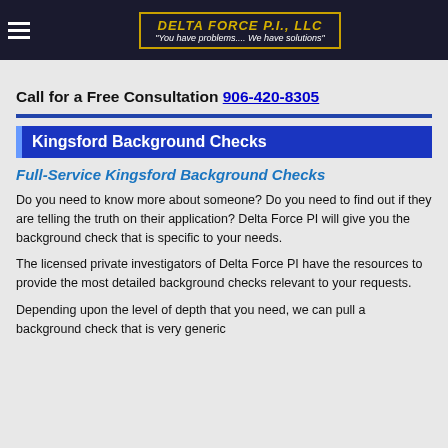DELTA FORCE P.I., LLC — "You have problems.... We have solutions"
Call for a Free Consultation 906-420-8305
Kingsford Background Checks
Full-Service Kingsford Background Checks
Do you need to know more about someone? Do you need to find out if they are telling the truth on their application? Delta Force PI will give you the background check that is specific to your needs.
The licensed private investigators of Delta Force PI have the resources to provide the most detailed background checks relevant to your requests.
Depending upon the level of depth that you need, we can pull a background check that is very generic